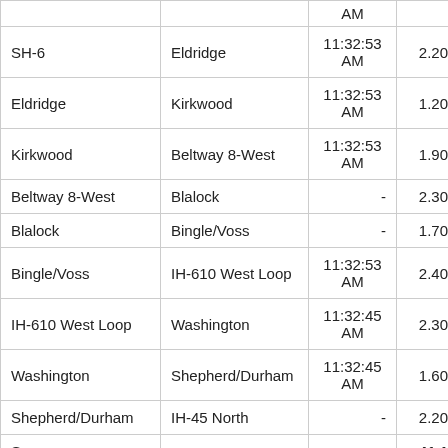| From | To | Time | Miles | (partial col) |
| --- | --- | --- | --- | --- |
|  |  | AM |  |  |
| SH-6 | Eldridge | 11:32:53 AM | 2.20 | 25 |
| Eldridge | Kirkwood | 11:32:53 AM | 1.20 |  |
| Kirkwood | Beltway 8-West | 11:32:53 AM | 1.90 |  |
| Beltway 8-West | Blalock | - | 2.30 |  |
| Blalock | Bingle/Voss | - | 1.70 |  |
| Bingle/Voss | IH-610 West Loop | 11:32:53 AM | 2.40 |  |
| IH-610 West Loop | Washington | 11:32:45 AM | 2.30 |  |
| Washington | Shepherd/Durham | 11:32:45 AM | 1.60 |  |
| Shepherd/Durham | IH-45 North | - | 2.20 |  |
| Summary |  |  | 41.1 | 56 |